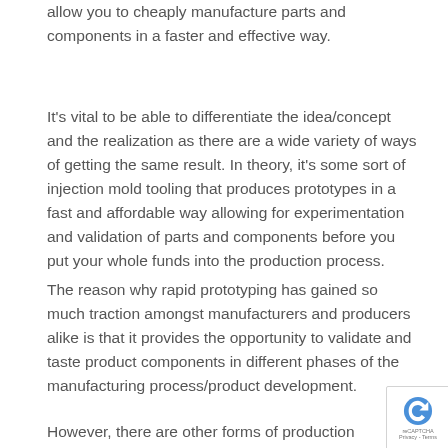allow you to cheaply manufacture parts and components in a faster and effective way.
It's vital to be able to differentiate the idea/concept and the realization as there are a wide variety of ways of getting the same result. In theory, it's some sort of injection mold tooling that produces prototypes in a fast and affordable way allowing for experimentation and validation of parts and components before you put your whole funds into the production process.
The reason why rapid prototyping has gained so much traction amongst manufacturers and producers alike is that it provides the opportunity to validate and taste product components in different phases of the manufacturing process/product development.
However, there are other forms of production techniques that you can use such as CNC Machining,